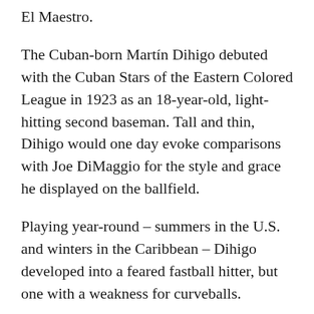El Maestro.
The Cuban-born Martín Dihigo debuted with the Cuban Stars of the Eastern Colored League in 1923 as an 18-year-old, light-hitting second baseman. Tall and thin, Dihigo would one day evoke comparisons with Joe DiMaggio for the style and grace he displayed on the ballfield.
Playing year-round – summers in the U.S. and winters in the Caribbean – Dihigo developed into a feared fastball hitter, but one with a weakness for curveballs.
“Don’t throw me any more fastballs,” he soon told his batting practice pitcher. “I can hit them like anything. Throw me curves.” With the determination that marked his entire career, Dihigo made himself into one of the